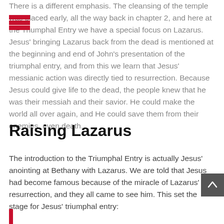There is a different emphasis. The cleansing of the temple was placed early, all the way back in chapter 2, and here at the Triumphal Entry we have a special focus on Lazarus. Jesus' bringing Lazarus back from the dead is mentioned at the beginning and end of John's presentation of the triumphal entry, and from this we learn that Jesus' messianic action was directly tied to resurrection. Because Jesus could give life to the dead, the people knew that he was their messiah and their savior. He could make the world all over again, and He could save them from their enemies, even death.
Raising Lazarus
The introduction to the Triumphal Entry is actually Jesus' anointing at Bethany with Lazarus. We are told that Jesus had become famous because of the miracle of Lazarus' resurrection, and they all came to see him. This set the stage for Jesus' triumphal entry: